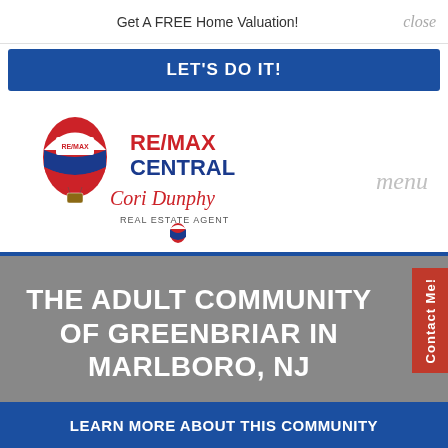Get A FREE Home Valuation!
close
LET'S DO IT!
[Figure (logo): RE/MAX Central logo with hot air balloon and cursive 'Cori Dunphy Real Estate Agent' text]
menu
Contact Me!
THE ADULT COMMUNITY OF GREENBRIAR IN MARLBORO, NJ
LEARN MORE ABOUT THIS COMMUNITY